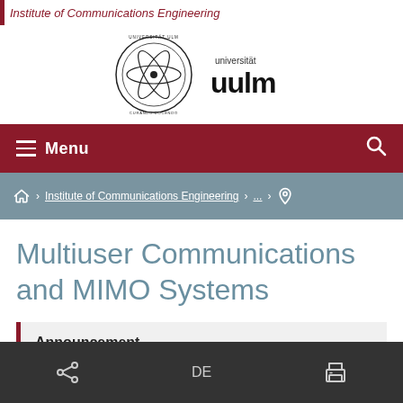Institute of Communications Engineering
[Figure (logo): Universität Ulm logo with circular seal and 'universität uulm' wordmark]
Menu
Home › Institute of Communications Engineering › ... › (location icon)
Multiuser Communications and MIMO Systems
Announcement
Share | DE | Print